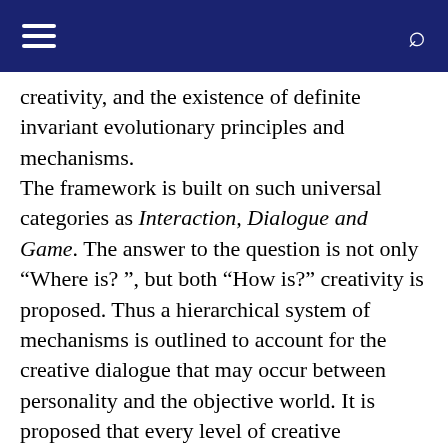creativity, and the existence of definite invariant evolutionary principles and mechanisms. The framework is built on such universal categories as Interaction, Dialogue and Game. The answer to the question is not only “Where is? ”, but both “How is?” creativity is proposed. Thus a hierarchical system of mechanisms is outlined to account for the creative dialogue that may occur between personality and the objective world. It is proposed that every level of creative interaction manifests itself through opposite, mutual complement pairs. These interactions constitute the workings of the mechanisms and include: The axiological (Idealization vs. Problematization), cognitive (Decentration vs. Simplification),